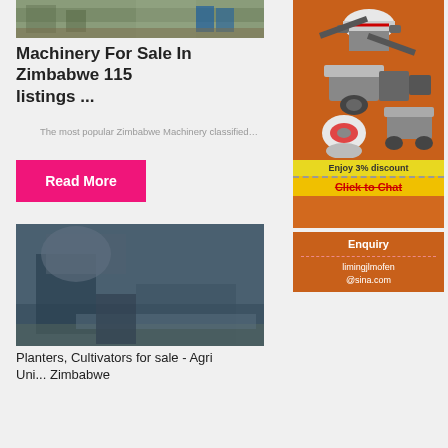[Figure (photo): Photo of machinery for sale in Zimbabwe, industrial setting with blue barrels visible]
Machinery For Sale In Zimbabwe 115 listings ...
The most popular Zimbabwe Machinery classified…
Read More
[Figure (photo): Photo of planters/cultivators machinery at a rocky quarry/mining site]
Planters, Cultivators for sale - Agri Uni... Zimbabwe
[Figure (illustration): Advertisement for mining/crushing machinery with orange background showing crusher machines. Text: Enjoy 3% discount, Click to Chat]
Enquiry
limingjlmofen@sina.com